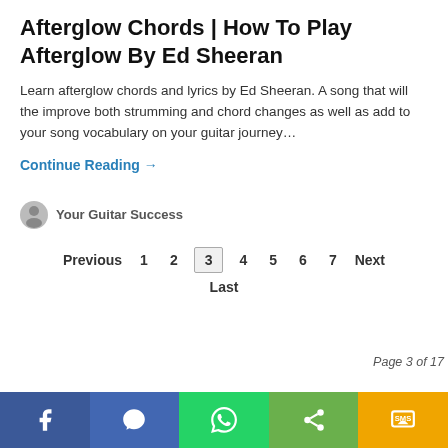Afterglow Chords | How To Play Afterglow By Ed Sheeran
Learn afterglow chords and lyrics by Ed Sheeran. A song that will the improve both strumming and chord changes as well as add to your song vocabulary on your guitar journey…
Continue Reading →
Your Guitar Success
Previous  1  2  3  4  5  6  7  Next
Last
Page 3 of 17